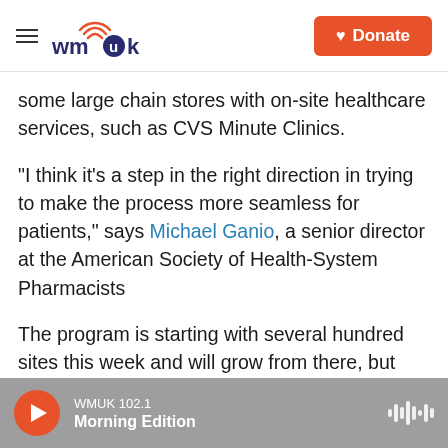WMUK | Donate
some large chain stores with on-site healthcare services, such as CVS Minute Clinics.
"I think it's a step in the right direction in trying to make the process more seamless for patients," says Michael Ganio, a senior director at the American Society of Health-System Pharmacists
The program is starting with several hundred sites this week and will grow from there, but there's a limited number of pharmacies that can participate, says Natalie Quillian, deputy coordinator for the White House COVID response.
WMUK 102.1 | Morning Edition